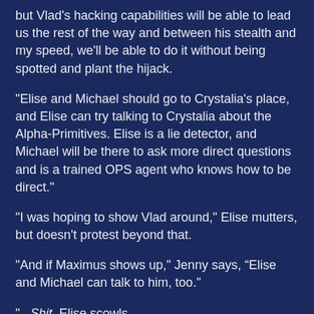but Vlad's hacking capabilities will be able to lead us the rest of the way and between his stealth and my speed, we'll be able to do it without being spotted and plant the hijack.
"Elise and Michael should go to Crystalia's place, and Elise can try talking to Crystalia about the Alpha-Primitives. Elise is a lie detector, and Michael will be there to ask more direct questions and is a trained OPS agent who knows how to be direct."
"I was hoping to show Vlad around," Elise mutters, but doesn't protest beyond that.
"And if Maximus shows up," Jenny says, “Elise and Michael can talk to him, too."
"...Shit, Elise scowls.
"I disagree, Commander," Vlad says to Miles after hearing Flashback's plan. "I think I should enter the catacombs myself. Flashback could be of use elsewhere."
Flashback narrows her eyes at Vladimir. "No. Nobody should